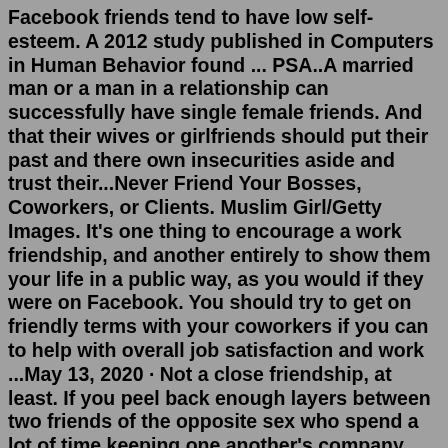Facebook friends tend to have low self-esteem. A 2012 study published in Computers in Human Behavior found ... PSA..A married man or a man in a relationship can successfully have single female friends. And that their wives or girlfriends should put their past and there own insecurities aside and trust their...Never Friend Your Bosses, Coworkers, or Clients. Muslim Girl/Getty Images. It's one thing to encourage a work friendship, and another entirely to show them your life in a public way, as you would if they were on Facebook. You should try to get on friendly terms with your coworkers if you can to help with overall job satisfaction and work ...May 13, 2020 · Not a close friendship, at least. If you peel back enough layers between two friends of the opposite sex who spend a lot of time keeping one another's company, one always has feelings for the ... "The guy with a small list of friends is private and loyal. He has fewer friends but has deep connections with all of them," Tuttle says. "He doesn't let many people know his true feelings, but...For instance, straight women